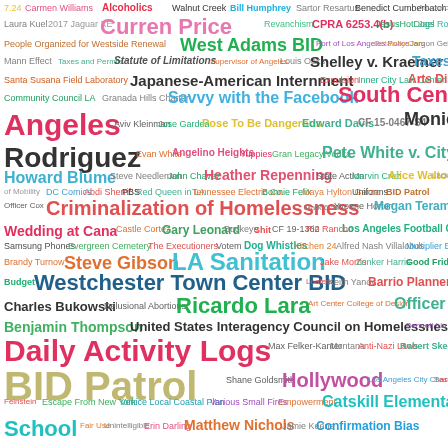[Figure (infographic): Word cloud of terms related to Los Angeles government, homelessness, law, and civic topics. Words appear in various colors, sizes, and positions across the page. Larger words include: BID Patrol, LA Sanitation, Westchester Town Center BID, South Central Los Angeles, Criminalization of Homelessness, Daily Activity Logs, Ricardo Lara, Hollywood, Catskill Elementary School, Matthew Nichols, West Adams BID, Japanese-American Internment, Shelley v. Kraemer, and many others.]